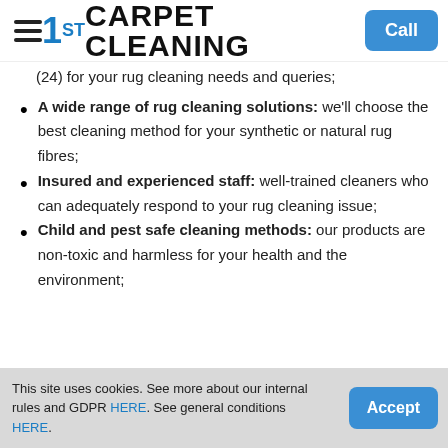1ST CARPET CLEANING | Call
(24) for your rug cleaning needs and queries;
A wide range of rug cleaning solutions: we'll choose the best cleaning method for your synthetic or natural rug fibres;
Insured and experienced staff: well-trained cleaners who can adequately respond to your rug cleaning issue;
Child and pest safe cleaning methods: our products are non-toxic and harmless for your health and the environment;
This site uses cookies. See more about our internal rules and GDPR HERE. See general conditions HERE. | Accept